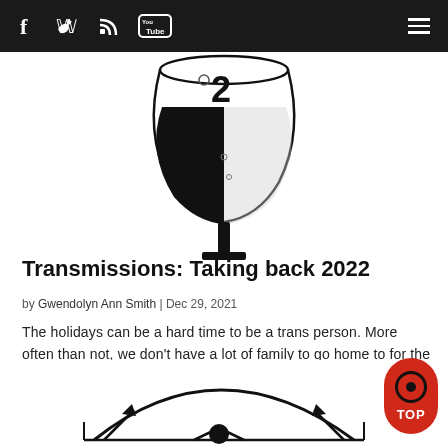Navigation bar with social icons (Facebook, Twitter, RSS, YouTube) and hamburger menu
[Figure (illustration): Partial view of a wine glass illustration with the number 2 visible, black and white line art style]
Transmissions: Taking back 2022
by Gwendolyn Ann Smith | Dec 29, 2021
The holidays can be a hard time to be a trans person. More often than not, we don't have a lot of family to go home to for the holidays, and end up spending many days far removed from the trappings of the season.
[Figure (illustration): Partial view of a circular diagram with arrows and a human figure, black and white line art, partially cropped at bottom of page]